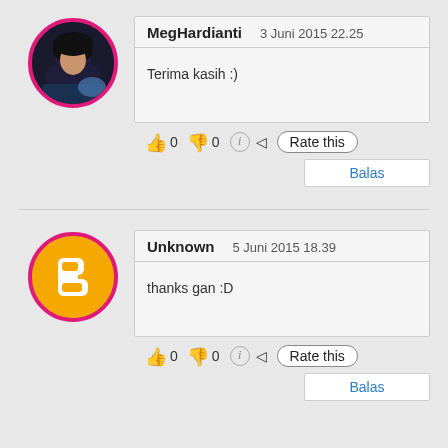[Figure (photo): Circular avatar photo of MegHardianti with pink border]
MegHardianti   3 Juni 2015 22.25
Terima kasih :)
👍 0 👎 0 ℹ ◁ Rate this
Balas
[Figure (logo): Circular Blogger B logo with orange background and pink border]
Unknown   5 Juni 2015 18.39
thanks gan :D
👍 0 👎 0 ℹ ◁ Rate this
Balas